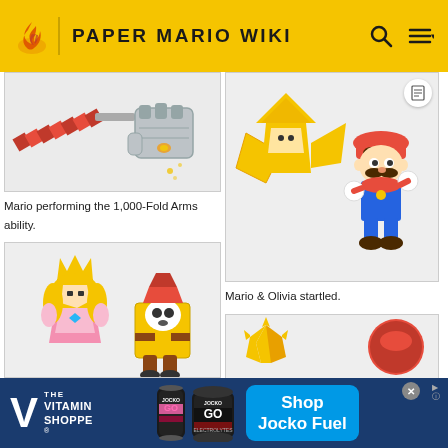PAPER MARIO WIKI
[Figure (illustration): Mario performing the 1,000-Fold Arms ability — giant mechanical fist with red zigzag arm]
Mario performing the 1,000-Fold Arms ability.
[Figure (illustration): Origami Paper Mario characters — Olivia (gold origami) and Paper Mario startled]
Mario & Olivia startled.
[Figure (illustration): Origami Princess Peach and Shy Guy paper characters]
[Figure (illustration): Origami characters bottom right — gold star crown figure and red circle character]
[Figure (photo): Advertisement banner: The Vitamin Shoppe — Shop Jocko Fuel with Jocko GO energy drink cans]